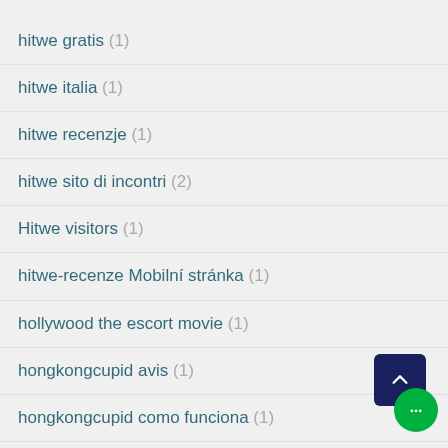hitwe gratis (1)
hitwe italia (1)
hitwe recenzje (1)
hitwe sito di incontri (2)
Hitwe visitors (1)
hitwe-recenze Mobilní stránka (1)
hollywood the escort movie (1)
hongkongcupid avis (1)
hongkongcupid como funciona (1)
hongkongcupid gratis (1)